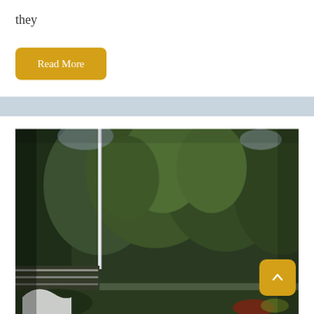they
Read More
[Figure (other): Horizontal light blue-grey divider bar]
[Figure (photo): Outdoor scene with large dark green conifer trees filling the background, white wicker/mesh furniture visible at bottom left, soft overcast light, garden setting]
[Figure (other): Yellow scroll-to-top button with upward arrow icon, positioned at bottom right over the photo]